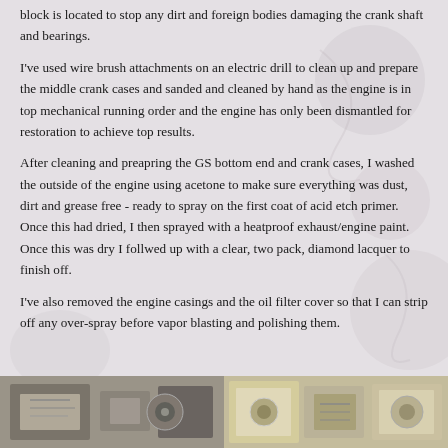block is located to stop any dirt and foreign bodies damaging the crank shaft and bearings.
I've used wire brush attachments on an electric drill to clean up and prepare the middle crank cases and sanded and cleaned by hand as the engine is in top mechanical running order and the engine has only been dismantled for restoration to achieve top results.
After cleaning and preapring the GS bottom end and crank cases, I washed the outside of the engine using acetone to make sure everything was dust, dirt and grease free - ready to spray on the first coat of acid etch primer. Once this had dried, I then sprayed with a heatproof exhaust/engine paint. Once this was dry I follwed up with a clear, two pack, diamond lacquer to finish off.
I've also removed the engine casings and the oil filter cover so that I can strip off any over-spray before vapor blasting and polishing them.
[Figure (photo): Left photo showing engine parts being worked on, mechanical workshop environment]
[Figure (photo): Right photo showing engine components close-up, mechanical parts detail]